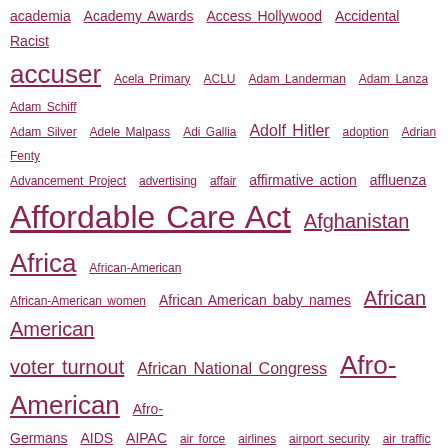academia Academy Awards Access Hollywood Accidental Racist accuser Acela Primary ACLU Adam Landerman Adam Lanza Adam Schiff Adam Silver Adele Malpass Adi Gallia Adolf Hitler adoption Adrian Fenty Advancement Project advertising affair affirmative action affluenza Affordable Care Act Afghanistan Africa African-American African-American women African American baby names African American voter turnout African National Congress Afro-American Afro-Germans AIDS AIPAC air force airlines airport security air traffic controllers Akhil Amar Akron Alabama Alabama Crimson Tide Alabama primary Alaska Alaska Caucus Alcoholic Beverage Control Alcorn State Alec Baldwin Alec MacGillis alexander acosta alexandria ocasio cortez Alexis Carter Alex Isenstadt Alex Salmond Alex Witt Al Franken Alfrone McNube Al Gore Al Green Alicia Keyes Alicia Menendez Alisa Massaro Alisyn Camerota Ali Velshi Al Jazeera Al Jazeera America Al Jazeera English Allen West allies All in with Chris Hayes All Lives Matter Al Qaeda ALS Al Sharpton Al Smith Dinner alternative facts alt right Alvin Greene